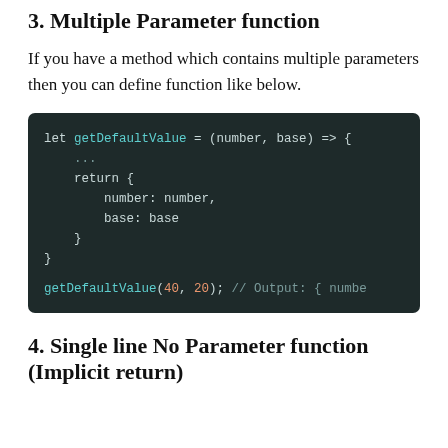3. Multiple Parameter function
If you have a method which contains multiple parameters then you can define function like below.
[Figure (screenshot): Code block showing a JavaScript arrow function 'getDefaultValue' with two parameters (number, base) that returns an object with those properties. Also shows a function call getDefaultValue(40, 20) with a comment showing partial output.]
4. Single line No Parameter function (Implicit return)